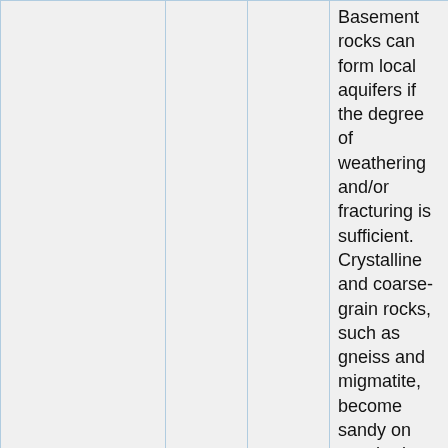|  |  |  | Basement rocks can form local aquifers if the degree of weathering and/or fracturing is sufficient. Crystalline and coarse-grain rocks, such as gneiss and migmatite, become sandy on weathering, thus |